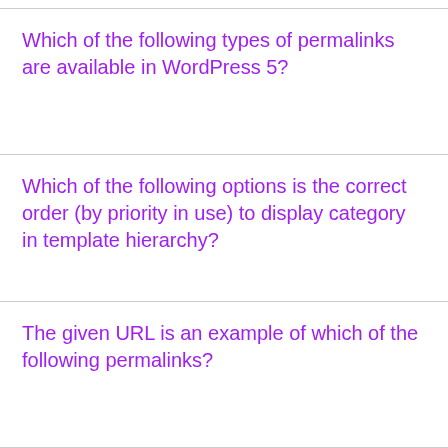Which of the following types of permalinks are available in WordPress 5?
Which of the following options is the correct order (by priority in use) to display category in template hierarchy?
The given URL is an example of which of the following permalinks?